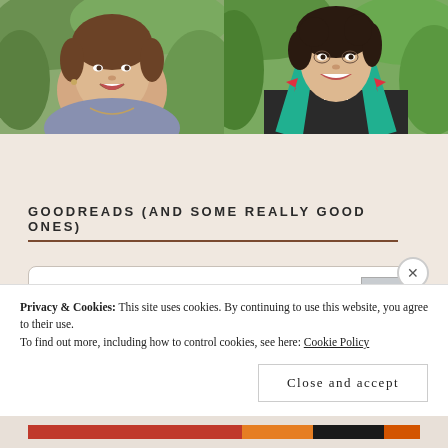[Figure (photo): Two side-by-side portrait photos. Left: a smiling woman with brown hair, wearing a light blue/gray top with a necklace, outdoors with green foliage background. Right: a smiling woman with curly dark hair wearing a black clergy shirt and a teal/green stole with red bird motifs, outdoors.]
GOODREADS (AND SOME REALLY GOOD ONES)
Twelve Steps and Twelve Traditions
Privacy & Cookies: This site uses cookies. By continuing to use this website, you agree to their use.
To find out more, including how to control cookies, see here: Cookie Policy
Close and accept